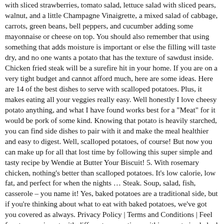with sliced strawberries, tomato salad, lettuce salad with sliced pears, walnut, and a little Champagne Vinaigrette, a mixed salad of cabbage, carrots, green beans, bell peppers, and cucumber adding some mayonnaise or cheese on top. You should also remember that using something that adds moisture is important or else the filling will taste dry, and no one wants a potato that has the texture of sawdust inside. Chicken fried steak will be a surefire hit in your home. If you are on a very tight budget and cannot afford much, here are some ideas. Here are 14 of the best dishes to serve with scalloped potatoes. Plus, it makes eating all your veggies really easy. Well honestly I love cheesy potato anything, and what I have found works best for a "Meat" for it would be pork of some kind. Knowing that potato is heavily starched, you can find side dishes to pair with it and make the meal healthier and easy to digest. Well, scalloped potatoes, of course! But now you can make up for all that lost time by following this super simple and tasty recipe by Wendie at Butter Your Biscuit! 5. With rosemary chicken, nothing's better than scalloped potatoes. It's low calorie, low fat, and perfect for when the nights … Steak. Soup, salad, fish, casserole – you name it! Yes, baked potatoes are a traditional side, but if you're thinking about what to eat with baked potatoes, we've got you covered as always. Privacy Policy | Terms and Conditions | Feel free to experiment with different concoctions within your twice baked potatoes. https://www.find-a-seafood-recipe.com/what-can-I-serve-with-fish.html As an alternative to